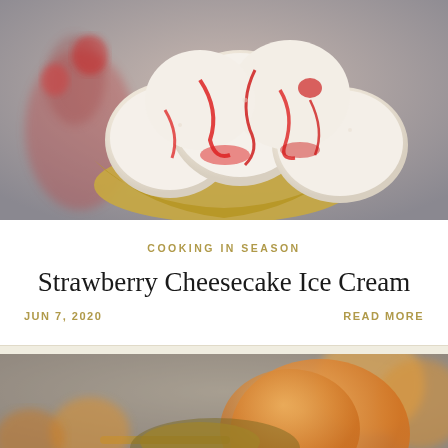[Figure (photo): Close-up photo of strawberry cheesecake ice cream scoops in a yellow-beige ceramic bowl, drizzled with bright red strawberry sauce. Strawberries visible in background.]
COOKING IN SEASON
Strawberry Cheesecake Ice Cream
JUN 7, 2020
READ MORE
[Figure (photo): Partial bottom photo showing what appears to be peaches or similar round orange fruits with a scoop, blurred/soft focus, gray background.]